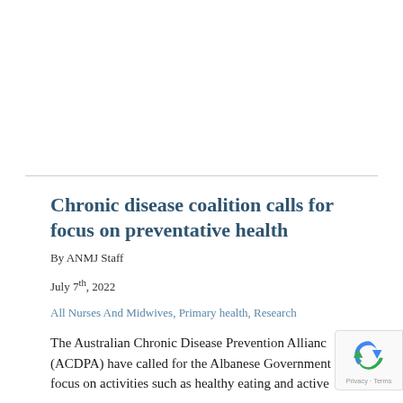Chronic disease coalition calls for focus on preventative health
By ANMJ Staff
July 7th, 2022
All Nurses And Midwives, Primary health, Research
The Australian Chronic Disease Prevention Alliance (ACDPA) have called for the Albanese Government to focus on activities such as healthy eating and active